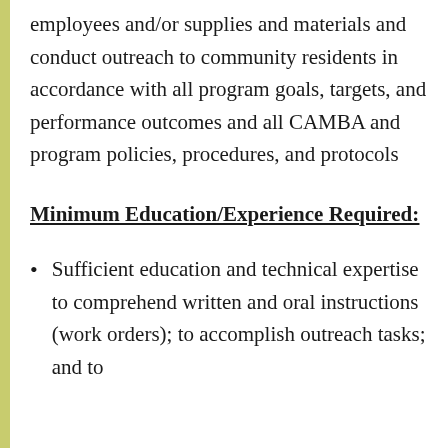employees and/or supplies and materials and conduct outreach to community residents in accordance with all program goals, targets, and performance outcomes and all CAMBA and program policies, procedures, and protocols
Minimum Education/Experience Required:
Sufficient education and technical expertise to comprehend written and oral instructions (work orders); to accomplish outreach tasks; and to